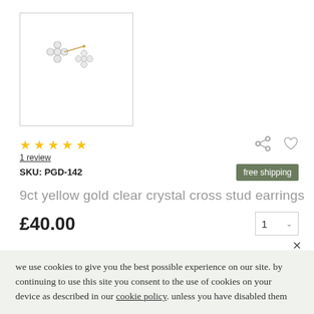[Figure (photo): Product photo of 9ct yellow gold clear crystal cross stud earrings on white background inside a bordered box]
★ ★ ★ ★ ★
1 review
SKU: PGD-142
free shipping
9ct yellow gold clear crystal cross stud earrings
£40.00
show your devotion to your faith with these stunning clear crystal cross stud earrings which are made from...
read more
we use cookies to give you the best possible experience on our site. by continuing to use this site you consent to the use of cookies on your device as described in our cookie policy. unless you have disabled them